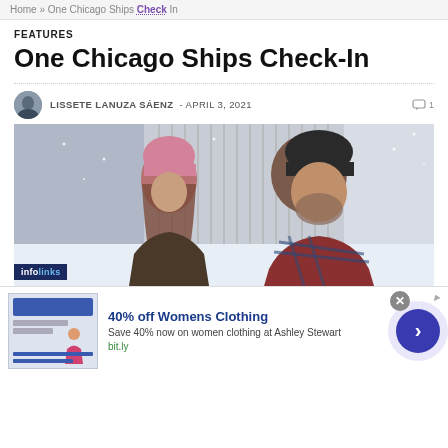Home » One Chicago Ships Check-In
FEATURES
One Chicago Ships Check-In
LISSETE LANUZA SÁENZ  -  APRIL 3, 2021   💬 1
[Figure (photo): Two people wearing winter hats standing outdoors in a snowy scene. A woman wearing a pink knit beanie and a man wearing a black knit beanie, man in a plaid shirt.]
infolinks
40% off Womens Clothing
Save 40% now on women clothing at Ashley Stewart
bit.ly